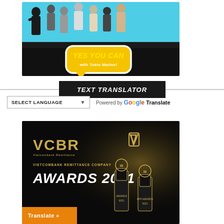[Figure (illustration): Tokio Marine insurance promotional banner with people jumping against a blue and black background, with a yellow speech bubble saying 'YES YOU CAN with Tokio Marine!']
TEXT TRANSLATOR
SELECT LANGUAGE   Powered by Google Translate
[Figure (illustration): VCBR Vietcombank Remittance Company Awards 2021 promotional banner on dark background with gold trophies and orange Translate button]